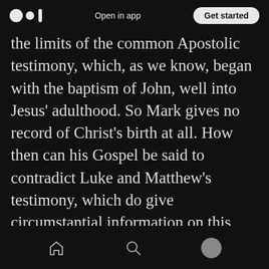Open in app | Get started
the limits of the common Apostolic testimony, which, as we know, began with the baptism of John, well into Jesus' adulthood. So Mark gives no record of Christ's birth at all. How then can his Gospel be said to contradict Luke and Matthew's testimony, which do give circumstantial information on this subject? Ehrman makes the same argument from silence again in arguing against the virgin birth. This time, he wants to show that Matthew and Luke don't share John's view of Jesus' pre-existence. He writes:
Home | Search | Profile